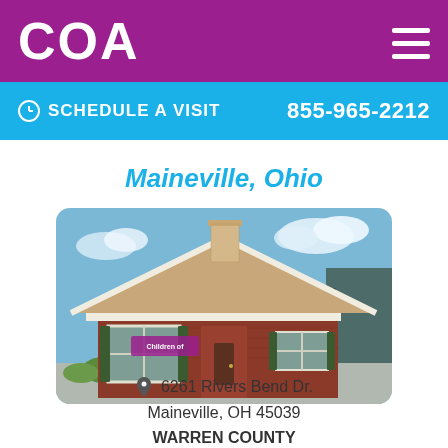COA
SCHEDULE A VISIT   855-965-2212
Maineville, Ohio
[Figure (photo): Exterior photo of a brick building with a peaked roof, white trim, and green shutters. A sign reading 'Children of' is visible on the facade. Blue sky with clouds in background and green shrubs in front.]
6261 Rivers Bend Dr.
Maineville, OH 45039
WARREN COUNTY